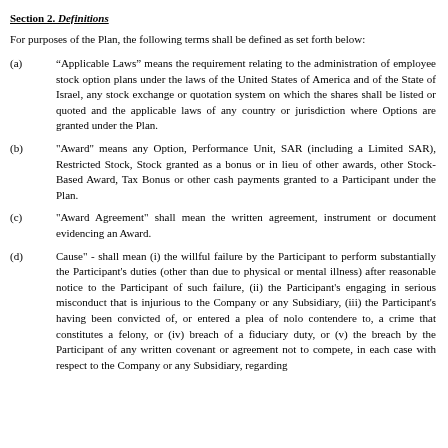Section 2. Definitions
For purposes of the Plan, the following terms shall be defined as set forth below:
(a) “Applicable Laws” means the requirement relating to the administration of employee stock option plans under the laws of the United States of America and of the State of Israel, any stock exchange or quotation system on which the shares shall be listed or quoted and the applicable laws of any country or jurisdiction where Options are granted under the Plan.
(b) "Award" means any Option, Performance Unit, SAR (including a Limited SAR), Restricted Stock, Stock granted as a bonus or in lieu of other awards, other Stock-Based Award, Tax Bonus or other cash payments granted to a Participant under the Plan.
(c) "Award Agreement" shall mean the written agreement, instrument or document evidencing an Award.
(d) Cause" - shall mean (i) the willful failure by the Participant to perform substantially the Participant's duties (other than due to physical or mental illness) after reasonable notice to the Participant of such failure, (ii) the Participant's engaging in serious misconduct that is injurious to the Company or any Subsidiary, (iii) the Participant's having been convicted of, or entered a plea of nolo contendere to, a crime that constitutes a felony, or (iv) breach of a fiduciary duty, or (v) the breach by the Participant of any written covenant or agreement not to compete, in each case with respect to the Company or any Subsidiary, regarding